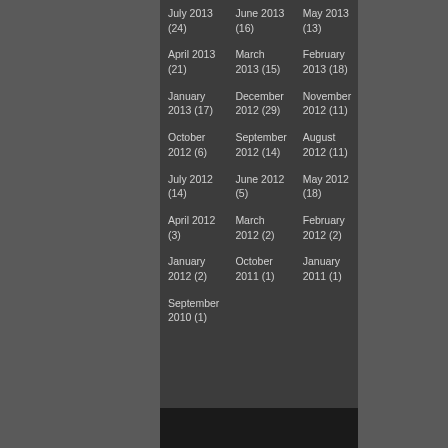July 2013 (24)
June 2013 (16)
May 2013 (13)
April 2013 (21)
March 2013 (15)
February 2013 (18)
January 2013 (17)
December 2012 (29)
November 2012 (11)
October 2012 (6)
September 2012 (14)
August 2012 (11)
July 2012 (14)
June 2012 (5)
May 2012 (18)
April 2012 (3)
March 2012 (2)
February 2012 (2)
January 2012 (2)
October 2011 (1)
January 2011 (1)
September 2010 (1)